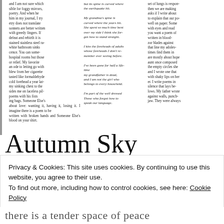[Figure (other): Scanned poetry text in three columns with italic middle column showing a poem with text about mirrors, poetry, grandmothers, grandfathers, and family.]
Autumn Sky
January 5, 2015 by Utopian Citizen
Privacy & Cookies: This site uses cookies. By continuing to use this website, you agree to their use. To find out more, including how to control cookies, see here: Cookie Policy
Close and accept
there is a tender space of peace